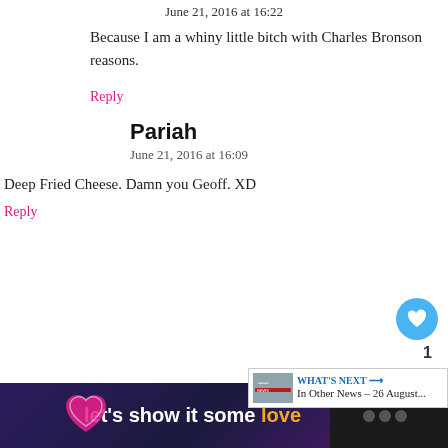June 21, 2016 at 16:22
Because I am a whiny little bitch with Charles Bronson reasons.
Reply
Pariah
June 21, 2016 at 16:09
Deep Fried Cheese. Damn you Geoff. XD
Reply
Hammersteyn_hates_Raid0
June 21, 2016 at 16:16
WHAT'S NEXT → In Other News – 26 August...
[Figure (infographic): Advertisement banner: dark purple background with heart graphic, text 'let's show it some love' in white and gold, and a logo on the right side]